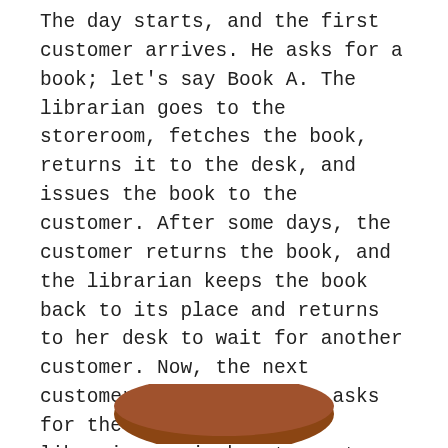The day starts, and the first customer arrives. He asks for a book; let's say Book A. The librarian goes to the storeroom, fetches the book, returns it to the desk, and issues the book to the customer. After some days, the customer returns the book, and the librarian keeps the book back to its place and returns to her desk to wait for another customer. Now, the next customer arrives, and he asks for the same Book A. The librarian again has to go to the same place and fetch the book and give it to the customer. In this system, the librarian has to visit the store every time a customer arrives—even to get the book that is demanded frequently.
[Figure (illustration): Partial illustration at the bottom of the page, showing what appears to be a brown circular or dome-shaped object (likely a table or desk), cropped at the bottom edge.]